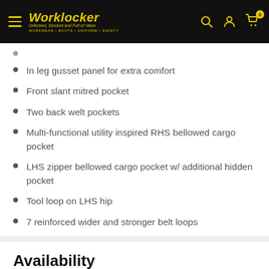Worklocker — Unlocked, Stocked and Full of Value — WORKWEAR • BOOTS • UNIFORM • SAFETY
In leg gusset panel for extra comfort
Front slant mitred pocket
Two back welt pockets
Multi-functional utility inspired RHS bellowed cargo pocket
LHS zipper bellowed cargo pocket w/ additional hidden pocket
Tool loop on LHS hip
7 reinforced wider and stronger belt loops
Availability
Not all items are available in store. If you have a question about the